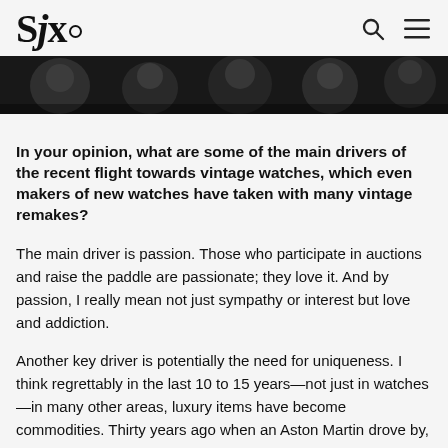SJx.
[Figure (photo): Dark photo strip showing people/crowd in background, partially cropped at top]
In your opinion, what are some of the main drivers of the recent flight towards vintage watches, which even makers of new watches have taken with many vintage remakes?
The main driver is passion. Those who participate in auctions and raise the paddle are passionate; they love it. And by passion, I really mean not just sympathy or interest but love and addiction.
Another key driver is potentially the need for uniqueness. I think regrettably in the last 10 to 15 years—not just in watches—in many other areas, luxury items have become commodities. Thirty years ago when an Aston Martin drove by, it would turn heads because you would only see one per year. But today, an Aston Martin is about as common as a Mercedes S-Class. Almost every car brand has increased their